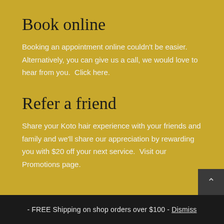Book online
Booking an appointment online couldn't be easier. Alternatively, you can give us a call, we would love to hear from you.  Click here.
Refer a friend
Share your Koto hair experience with your friends and family and we'll share our appreciation by rewarding you with $20 off your next service.  Visit our Promotions page.
- FREE Shipping on shop orders over $100 - Dismiss